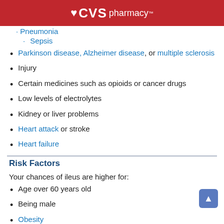CVS pharmacy™
Pneumonia
Sepsis
Parkinson disease, Alzheimer disease, or multiple sclerosis
Injury
Certain medicines such as opioids or cancer drugs
Low levels of electrolytes
Kidney or liver problems
Heart attack or stroke
Heart failure
Risk Factors
Your chances of ileus are higher for:
Age over 60 years old
Being male
Obesity
Being in a hospital or institution
Symptoms
Common symptoms: